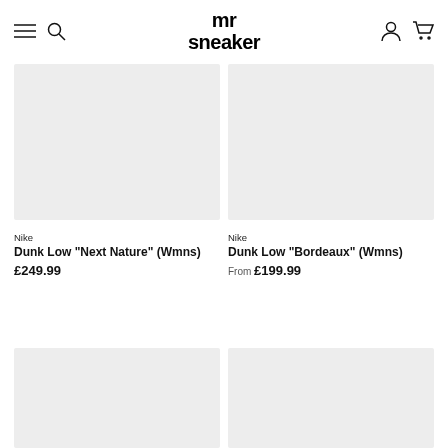mr sneaker
[Figure (photo): Product image placeholder – grey rectangle for Nike Dunk Low Next Nature Wmns]
Nike
Dunk Low "Next Nature" (Wmns)
£249.99
[Figure (photo): Product image placeholder – grey rectangle for Nike Dunk Low Bordeaux Wmns]
Nike
Dunk Low "Bordeaux" (Wmns)
From £199.99
[Figure (photo): Product image placeholder – grey rectangle bottom left]
[Figure (photo): Product image placeholder – grey rectangle bottom right]